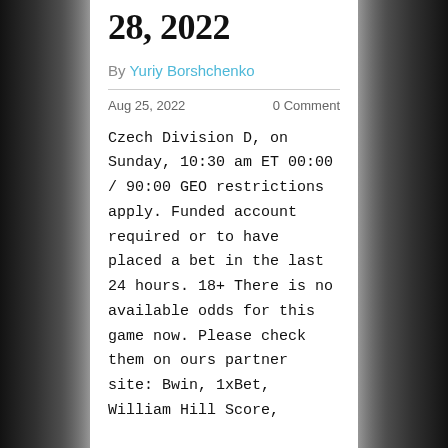28, 2022
By Yuriy Borshchenko
Aug 25, 2022    0 Comment
Czech Division D, on Sunday, 10:30 am ET 00:00 / 90:00 GEO restrictions apply. Funded account required or to have placed a bet in the last 24 hours. 18+ There is no available odds for this game now. Please check them on ours partner site: Bwin, 1xBet, William Hill Score,